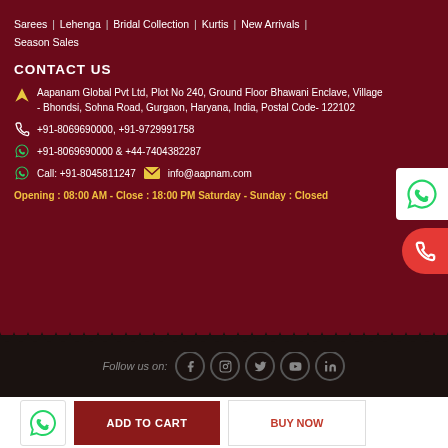Sarees | Lehenga | Bridal Collection | Kurtis | New Arrivals | Season Sales
CONTACT US
Aapanam Global Pvt Ltd, Plot No 240, Ground Floor Bhawani Enclave, Village - Bhondsi, Sohna Road, Gurgaon, Haryana, India, Postal Code- 122102
+91-8069690000, +91-9729991758
+91-8069690000 & +44-7404382287
Call: +91-8045811247    info@aapnam.com
Opening : 08:00 AM - Close : 18:00 PM Saturday - Sunday : Closed
Follow us on:
ADD TO CART   BUY NOW